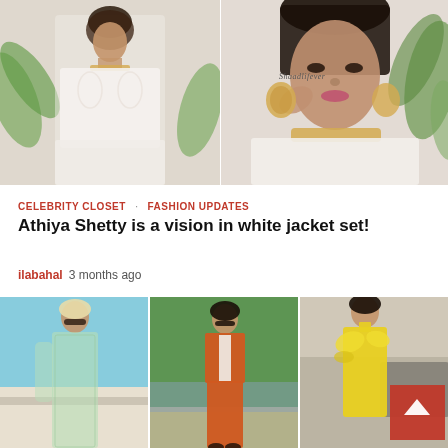[Figure (photo): Two-panel collage of Athiya Shetty wearing a white embroidered jacket set with gold jewelry, posing against a neutral background with green plants. Left panel shows full figure, right panel is a closer shot. Watermark reads 'Shaadlifever'.]
CELEBRITY CLOSET · FASHION UPDATES
Athiya Shetty is a vision in white jacket set!
ilabahal   3 months ago
[Figure (photo): Three-panel collage showing three different celebrity fashion looks: left panel shows a woman in a sheer green/mint embellished gown; center panel shows a woman in a bright orange pantsuit walking on a street lined with green hedges; right panel shows a woman in a bright yellow ruffled halter mini dress.]